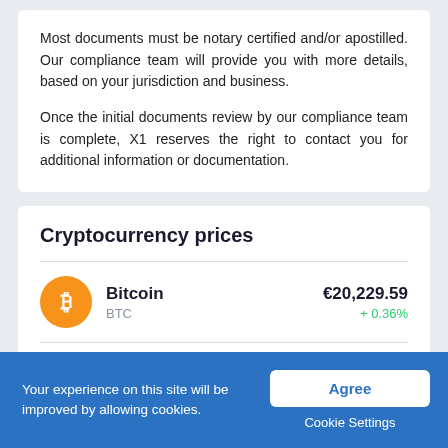Most documents must be notary certified and/or apostilled. Our compliance team will provide you with more details, based on your jurisdiction and business.
Once the initial documents review by our compliance team is complete, X1 reserves the right to contact you for additional information or documentation.
Cryptocurrency prices
| Coin | Name/Ticker | Price | Change |
| --- | --- | --- | --- |
| Bitcoin | BTC | €20,229.59 | +0.36% |
| Ethereum |  | €1,687.19 |  |
| Litecoin |  |  |  |
Your experience on this site will be improved by allowing cookies.